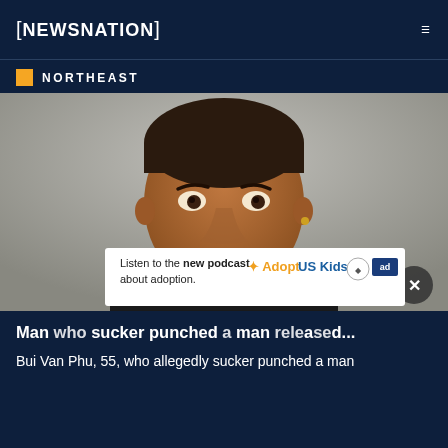NEWSNATION
NORTHEAST
[Figure (photo): Mugshot-style portrait of a middle-aged man wearing a dark shirt, with a grey background. Gold earring visible on right ear.]
Man who sucker punched a man released...
Listen to the new podcast about adoption.
Bui Van Phu, 55, who allegedly sucker punched a man